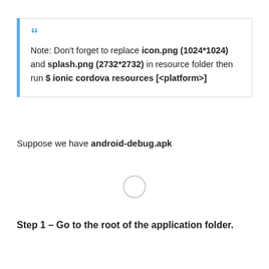Note: Don't forget to replace icon.png (1024*1024) and splash.png (2732*2732) in resource folder then run $ ionic cordova resources [<platform>]
Suppose we have android-debug.apk
[Figure (other): Small circle loading/placeholder icon]
Step 1 – Go to the root of the application folder.